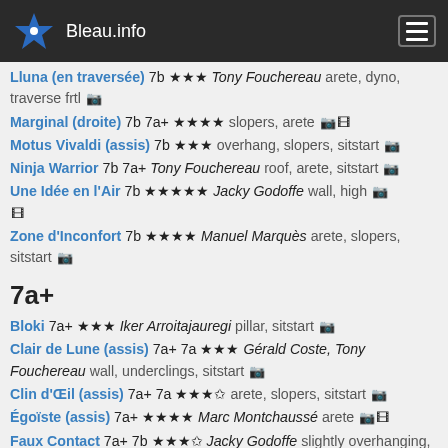Bleau.info
Lluna (en traversée) 7b ★★★ Tony Fouchereau arete, dyno, traverse frtl 📷
Marginal (droite) 7b 7a+ ★★★★ slopers, arete 📷 🎬
Motus Vivaldi (assis) 7b ★★★ overhang, slopers, sitstart 📷
Ninja Warrior 7b 7a+ Tony Fouchereau roof, arete, sitstart 📷
Une Idée en l'Air 7b ★★★★★ Jacky Godoffe wall, high 📷 🎬
Zone d'Inconfort 7b ★★★★ Manuel Marquès arete, slopers, sitstart 📷
7a+
Bloki 7a+ ★★★ Iker Arroitajauregi pillar, sitstart 📷
Clair de Lune (assis) 7a+ 7a ★★★ Gérald Coste, Tony Fouchereau wall, underclings, sitstart 📷
Clin d'Œil (assis) 7a+ 7a ★★★✩ arete, slopers, sitstart 📷
Égoïste (assis) 7a+ ★★★★ Marc Montchaussé arete 📷 🎬
Faux Contact 7a+ 7b ★★★✩ Jacky Godoffe slightly overhanging, jump 📷 🎬
Fuckin' Fernand 7a+ ★★★★ Philippe Le Denmat wall 📷
Happy Boulder 7a+ ★★★★ Olivier Penel, Marc